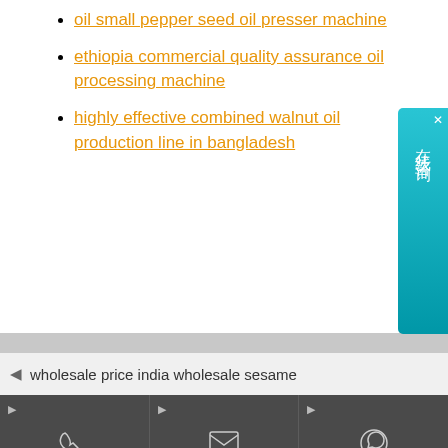oil small pepper seed oil presser machine
ethiopia commercial quality assurance oil processing machine
highly effective combined walnut oil production line in bangladesh
wholesale price india wholesale sesame
[Figure (other): Contact footer bar with Phone, Email, and Whatsapp icons on dark gray background]
[Figure (other): Chinese online chat widget on the right side with cyan/teal gradient background showing 在线咨询 (online consultation)]